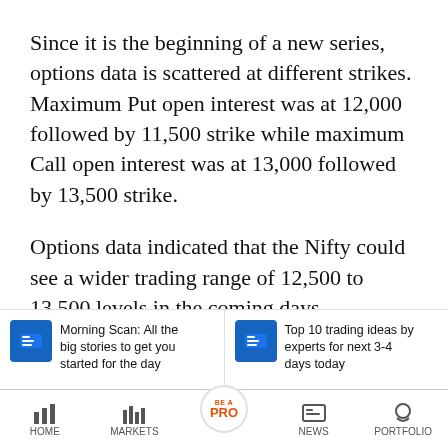Since it is the beginning of a new series, options data is scattered at different strikes. Maximum Put open interest was at 12,000 followed by 11,500 strike while maximum Call open interest was at 13,000 followed by 13,500 strike.
Options data indicated that the Nifty could see a wider trading range of 12,500 to 13,500 levels in the coming days.
The Bank Nifty opened positive at 29,370.40 and
[Figure (screenshot): Bottom notification bar with two cards: 'Morning Scan: All the big stories to get you started for the day' and 'Top 10 trading ideas by experts for next 3-4 days today']
HOME | MARKETS | BE A PRO | NEWS | PORTFOLIO